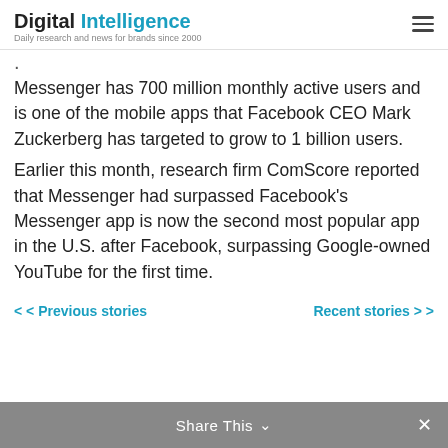Digital Intelligence — Daily research and news for brands since 2000
.
Messenger has 700 million monthly active users and is one of the mobile apps that Facebook CEO Mark Zuckerberg has targeted to grow to 1 billion users.
Earlier this month, research firm ComScore reported that Messenger had surpassed Facebook's Messenger app is now the second most popular app in the U.S. after Facebook, surpassing Google-owned YouTube for the first time.
< < Previous stories | Recent stories > >
Share This ∨  ✕